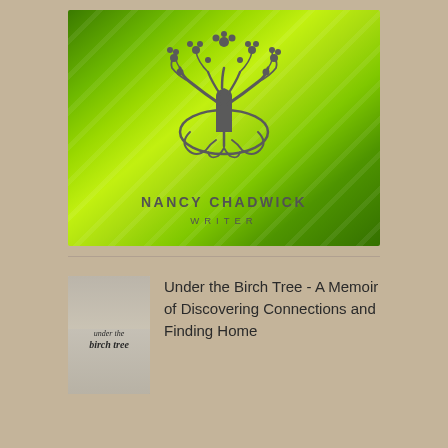[Figure (logo): Nancy Chadwick Writer logo on green leafy background — decorative tree of life silhouette in dark grey with text 'NANCY CHADWICK WRITER' below]
[Figure (photo): Book cover thumbnail for 'Under the Birch Tree' showing a woman and cursive title text]
Under the Birch Tree - A Memoir of Discovering Connections and Finding Home